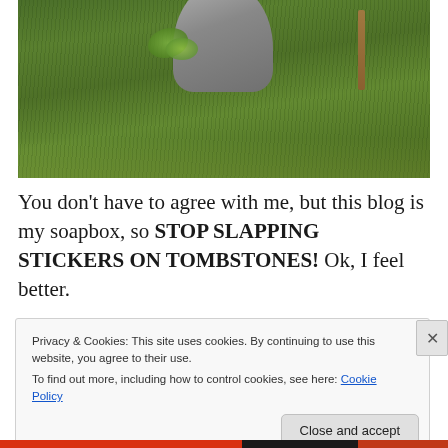[Figure (photo): Photo of grass and a gravestone/tombstone base in a cemetery, viewed from above showing green grass and the lower portion of a gray stone monument]
You don't have to agree with me, but this blog is my soapbox, so STOP SLAPPING STICKERS ON TOMBSTONES! Ok, I feel better.
Privacy & Cookies: This site uses cookies. By continuing to use this website, you agree to their use.
To find out more, including how to control cookies, see here: Cookie Policy